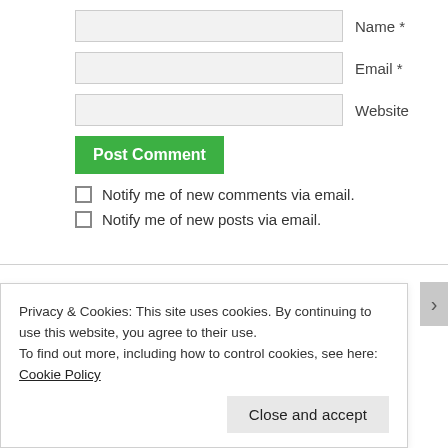Name *
Email *
Website
Post Comment
Notify me of new comments via email.
Notify me of new posts via email.
FOLLOW BLOG VIA EMAIL
Enter your email address to follow this blog and receive notifications of new posts by email.
Privacy & Cookies: This site uses cookies. By continuing to use this website, you agree to their use.
To find out more, including how to control cookies, see here: Cookie Policy
Close and accept